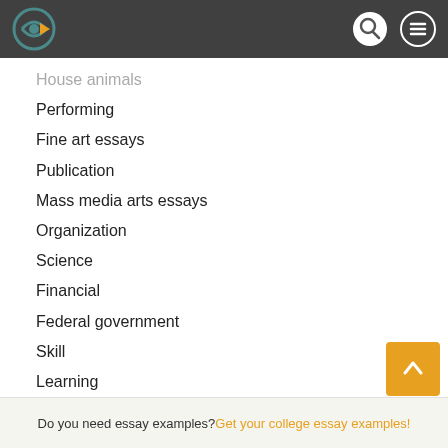Navigation bar with logo, search and menu icons
House animals
Performing
Fine art essays
Publication
Mass media arts essays
Organization
Science
Financial
Federal government
Skill
Learning
Theories
Law
Sales and marketing communications
Do you need essay examples? Get your college essay examples!